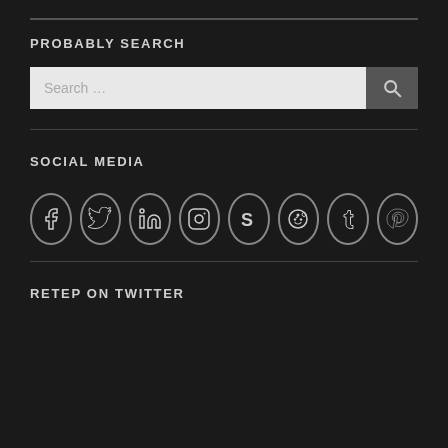PROBABLY SEARCH
[Figure (other): Search input box with search button showing a magnifying glass icon]
SOCIAL MEDIA
[Figure (infographic): Row of 8 social media icon circles: Facebook, Twitter, LinkedIn, Instagram, Skype, Reddit, Tumblr, Pinterest]
RETEP ON TWITTER